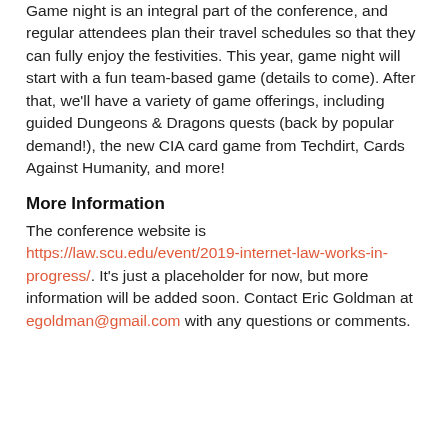Game night is an integral part of the conference, and regular attendees plan their travel schedules so that they can fully enjoy the festivities. This year, game night will start with a fun team-based game (details to come). After that, we'll have a variety of game offerings, including guided Dungeons & Dragons quests (back by popular demand!), the new CIA card game from Techdirt, Cards Against Humanity, and more!
More Information
The conference website is https://law.scu.edu/event/2019-internet-law-works-in-progress/. It's just a placeholder for now, but more information will be added soon. Contact Eric Goldman at egoldman@gmail.com with any questions or comments.